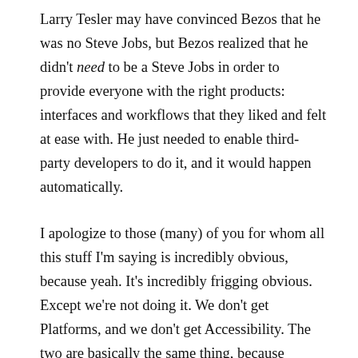Larry Tesler may have convinced Bezos that he was no Steve Jobs, but Bezos realized that he didn't need to be a Steve Jobs in order to provide everyone with the right products: interfaces and workflows that they liked and felt at ease with. He just needed to enable third-party developers to do it, and it would happen automatically.
I apologize to those (many) of you for whom all this stuff I'm saying is incredibly obvious, because yeah. It's incredibly frigging obvious. Except we're not doing it. We don't get Platforms, and we don't get Accessibility. The two are basically the same thing, because platforms solve accessibility. A platform is accessibility.
So yeah, Microsoft gets it. And you know as well as I do how surprising that is, because they don't "get" much of